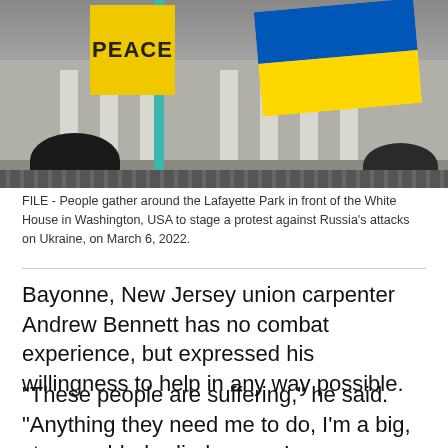[Figure (photo): People at a protest in Lafayette Park in front of the White House. A yellow sign reading PEACE is visible, along with the Ukrainian flag (blue and yellow) being waved. People's silhouettes are visible in the foreground.]
FILE - People gather around the Lafayette Park in front of the White House in Washington, USA to stage a protest against Russia's attacks on Ukraine, on March 6, 2022.
Bayonne, New Jersey union carpenter Andrew Bennett has no combat experience, but expressed his willingness to help in any way possible.
"These people are suffering," he said. "Anything they need me to do, I'm a big, strong, able-bodied man... I can carry people. I can feed people. I can bandage